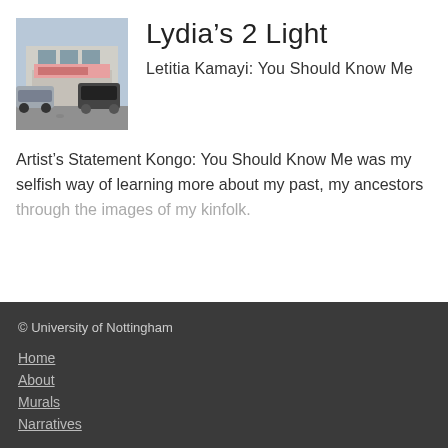[Figure (photo): Street-level photo of a shop front with cars parked outside]
Lydia's 2 Light
Letitia Kamayi: You Should Know Me
Artist's Statement Kongo: You Should Know Me was my selfish way of learning more about my past, my ancestors through the images of my kinfolk.
© University of Nottingham
Home
About
Murals
Narratives